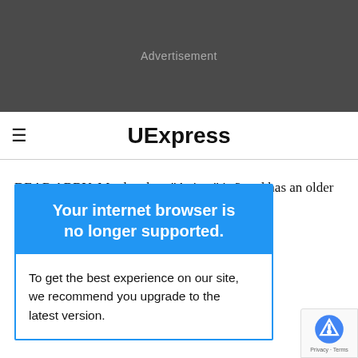Advertisement
UExpress
DEAR ABBY: My daughter "Anissa" is 3 and has an older ... s 5. Billy has ... ring his ... ly found out he ... ved her a ... on't feel
[Figure (screenshot): Browser compatibility warning overlay with blue header reading 'Your internet browser is no longer supported.' and white body text reading 'To get the best experience on our site, we recommend you upgrade to the latest version.']